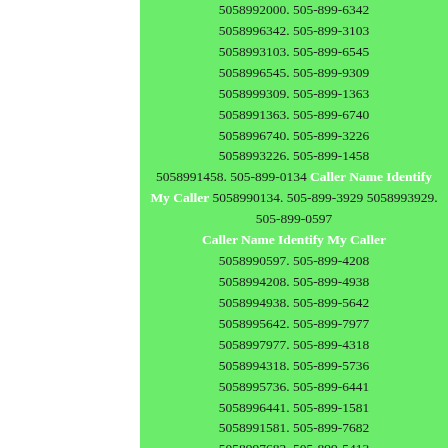5058992000 505-899-6342 5058996342. 505-899-3103 5058993103. 505-899-6545 5058996545. 505-899-9309 5058999309. 505-899-1363 5058991363. 505-899-6740 5058996740. 505-899-3226 5058993226. 505-899-1458 5058991458. 505-899-0134 Caller Name Identify My Caller 5058990134. 505-899-3929 5058993929. 505-899-0597 Caller Name Identify My Caller 5058990597. 505-899-4208 5058994208. 505-899-4938 5058994938. 505-899-5642 5058995642. 505-899-7977 5058997977. 505-899-4318 5058994318. 505-899-5736 5058995736. 505-899-6441 5058996441. 505-899-1581 5058991581. 505-899-7682 5058997682. 505-899-5413 5058995413. 505-899-1231 5058991231. 505-899-7283 5058997283. 505-899-7231 5058997231. 505-899-2005